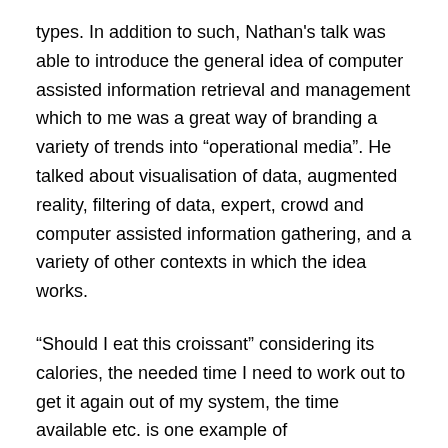types. In addition to such, Nathan's talk was able to introduce the general idea of computer assisted information retrieval and management which to me was a great way of branding a variety of trends into “operational media”. He talked about visualisation of data, augmented reality, filtering of data, expert, crowd and computer assisted information gathering, and a variety of other contexts in which the idea works.
“Should I eat this croissant” considering its calories, the needed time I need to work out to get it again out of my system, the time available etc. is one example of operationalisation of decisions in post-fordist societies of high-tech mobile tools that tap into work and leisure activities.
Another example is the service offered by Nathan’s